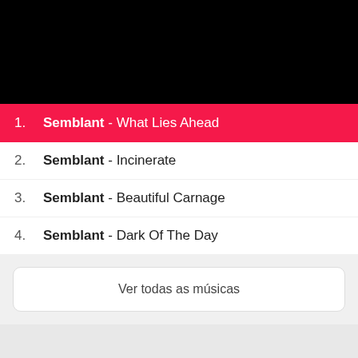[Figure (photo): Black rectangle area, likely a video player or image with black background]
1. Semblant - What Lies Ahead
2. Semblant - Incinerate
3. Semblant - Beautiful Carnage
4. Semblant - Dark Of The Day
Ver todas as músicas
[Figure (other): Light grey rectangle area at the bottom]